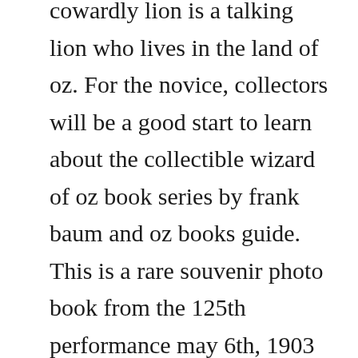cowardly lion is a talking lion who lives in the land of oz. For the novice, collectors will be a good start to learn about the collectible wizard of oz book series by frank baum and oz books guide. This is a rare souvenir photo book from the 125th performance may 6th, 1903 of the wizard of oz stageplay at the majestic theatre in new york. After a brief introduction, we will go over a summary of the plot and a list of the characters. The first installation of this amazing free outdoor exhibit was a living book of the wizard of oz. In general frank